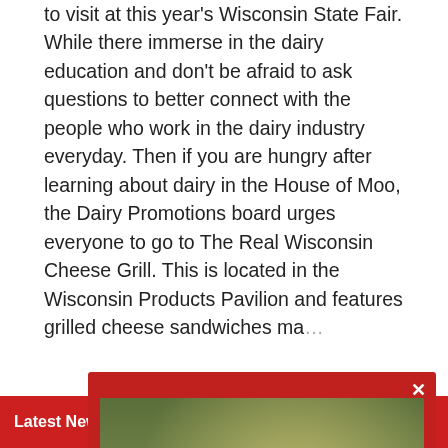to visit at this year's Wisconsin State Fair. While there immerse in the dairy education and don't be afraid to ask questions to better connect with the people who work in the dairy industry everyday. Then if you are hungry after learning about dairy in the House of Moo, the Dairy Promotions board urges everyone to go to The Real Wisconsin Cheese Grill. This is located in the Wisconsin Products Pavilion and features grilled cheese sandwiches ma...
Fo... Wi...
[Figure (screenshot): John Deere / Mid-State Equipment advertisement popup showing green tractors and equipment on a field with text 'YOU CAN COUNT ON US']
File...
Latest News From Mid-West Farm Report